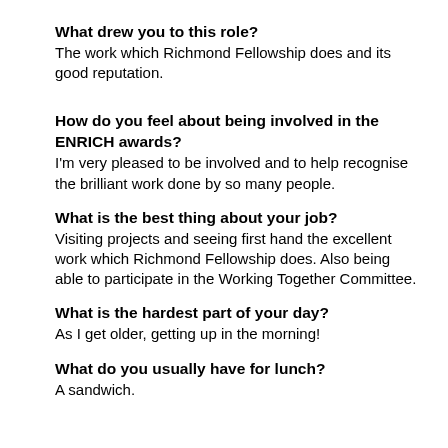What drew you to this role? The work which Richmond Fellowship does and its good reputation.
How do you feel about being involved in the ENRICH awards? I'm very pleased to be involved and to help recognise the brilliant work done by so many people.
What is the best thing about your job? Visiting projects and seeing first hand the excellent work which Richmond Fellowship does. Also being able to participate in the Working Together Committee.
What is the hardest part of your day? As I get older, getting up in the morning!
What do you usually have for lunch? A sandwich.